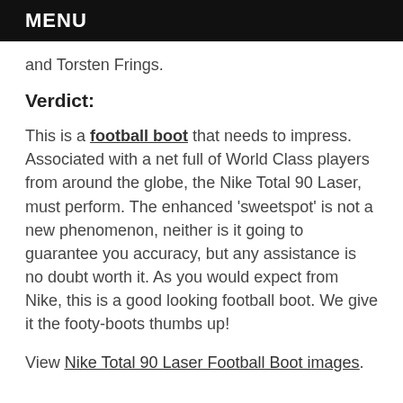MENU
and Torsten Frings.
Verdict:
This is a football boot that needs to impress. Associated with a net full of World Class players from around the globe, the Nike Total 90 Laser, must perform. The enhanced ‘sweetspot’ is not a new phenomenon, neither is it going to guarantee you accuracy, but any assistance is no doubt worth it. As you would expect from Nike, this is a good looking football boot. We give it the footy-boots thumbs up!
View Nike Total 90 Laser Football Boot images.